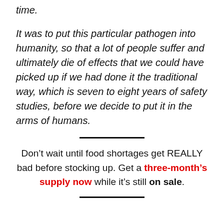time.
It was to put this particular pathogen into humanity, so that a lot of people suffer and ultimately die of effects that we could have picked up if we had done it the traditional way, which is seven to eight years of safety studies, before we decide to put it in the arms of humans.
Don’t wait until food shortages get REALLY bad before stocking up. Get a three-month’s supply now while it’s still on sale.